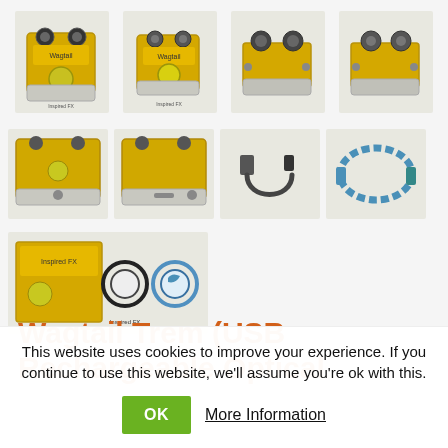[Figure (photo): Product photo grid showing a yellow guitar effects pedal (Wagtail Trem) from multiple angles: front view with knobs, side views, bottom views, plus USB charging cables and product packaging with stickers/accessories.]
Wagtail Trem (USB Rechargeable Optical
This website uses cookies to improve your experience. If you continue to use this website, we'll assume you're ok with this.
OK   More Information